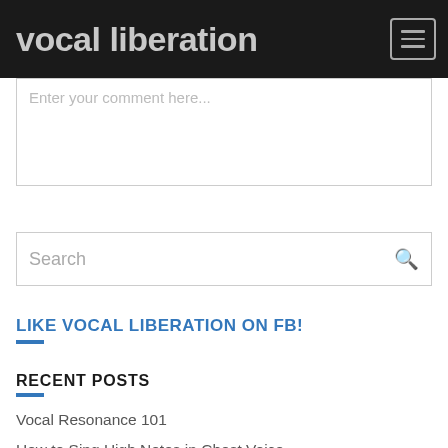vocal liberation
Enter your comment here...
Search
LIKE VOCAL LIBERATION ON FB!
RECENT POSTS
Vocal Resonance 101
How to Sing High Notes in Chest Voice
How to Release Throat Tension